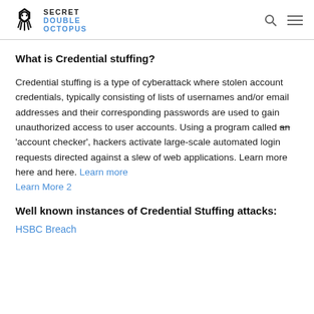Secret Double Octopus
What is Credential stuffing?
Credential stuffing is a type of cyberattack where stolen account credentials, typically consisting of lists of usernames and/or email addresses and their corresponding passwords are used to gain unauthorized access to user accounts. Using a program called an 'account checker', hackers activate large-scale automated login requests directed against a slew of web applications. Learn more here and here. Learn more Learn More 2
Well known instances of Credential Stuffing attacks:
HSBC Breach